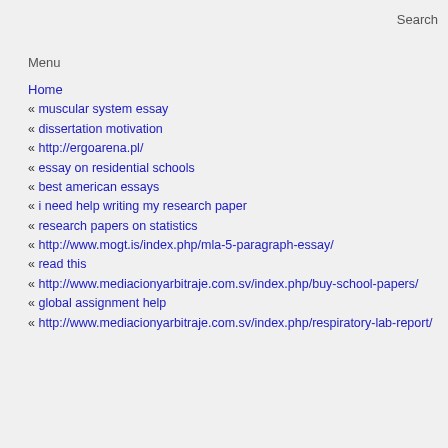Search
Menu
Home
« muscular system essay
« dissertation motivation
« http://ergoarena.pl/
« essay on residential schools
« best american essays
« i need help writing my research paper
« research papers on statistics
« http://www.mogt.is/index.php/mla-5-paragraph-essay/
« read this
« http://www.mediacionyarbitraje.com.sv/index.php/buy-school-papers/
« global assignment help
« http://www.mediacionyarbitraje.com.sv/index.php/respiratory-lab-report/